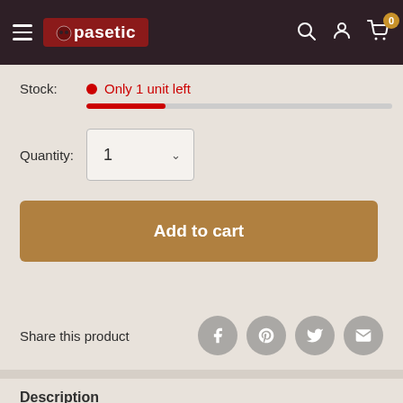Copasetic - navigation bar with hamburger menu, logo, search, account, and cart icons
Stock: Only 1 unit left
Quantity: 1
Add to cart
Share this product
Description